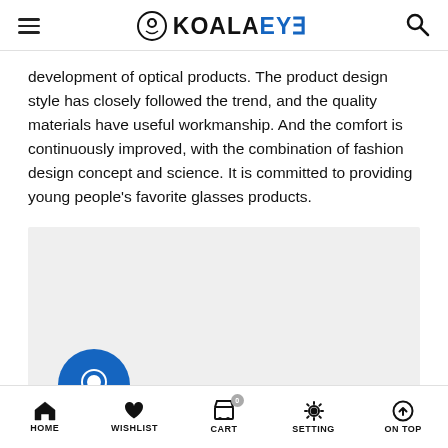KOALAEYE
development of optical products. The product design style has closely followed the trend, and the quality materials have useful workmanship. And the comfort is continuously improved, with the combination of fashion design concept and science. It is committed to providing young people's favorite glasses products.
[Figure (other): Gray placeholder content area with a circular chat/message bubble icon partially visible at the bottom left]
HOME  WISHLIST  CART  SETTING  ON TOP